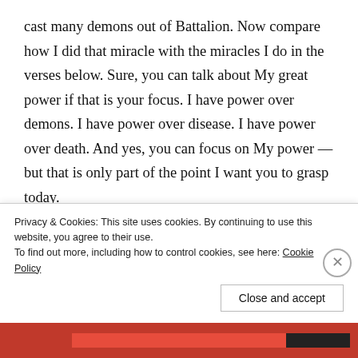cast many demons out of Battalion. Now compare how I did that miracle with the miracles I do in the verses below. Sure, you can talk about My great power if that is your focus. I have power over demons. I have power over disease. I have power over death. And yes, you can focus on My power — but that is only part of the point I want you to grasp today.
Today's point is as simple as it is personal; My love and My power are personal. I have the power to restore you! Yes, people — the crowd, the many, the lost — all
Privacy & Cookies: This site uses cookies. By continuing to use this website, you agree to their use.
To find out more, including how to control cookies, see here: Cookie Policy
Close and accept